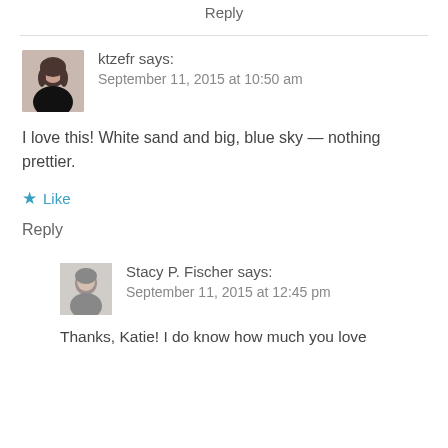Reply
[Figure (photo): Avatar photo of ktzefr, woman with dark hair]
ktzefr says:
September 11, 2015 at 10:50 am
I love this! White sand and big, blue sky – nothing prettier.
★ Like
Reply
[Figure (photo): Avatar photo of Stacy P. Fischer, person with glasses]
Stacy P. Fischer says:
September 11, 2015 at 12:45 pm
Thanks, Katie! I do know how much you love